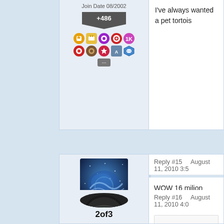I've always wanted a pet tortois
Reply #15    August 11, 2010 3:5
Deea19
Join Date 09/2008
+53
WOW 16 milion downloads?
If I win a copy of Windowblinds great program. Maybe this way
Reply #16    August 11, 2010 4:0
2of3